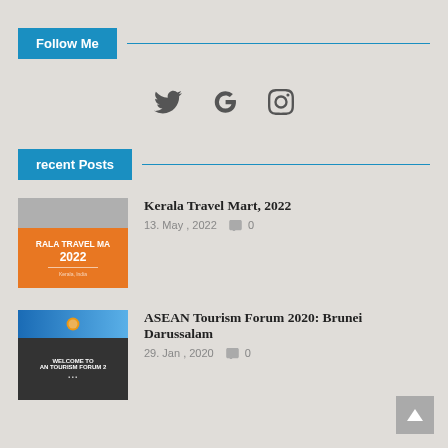Follow Me
[Figure (other): Social media icons: Twitter bird, Google G, Instagram camera]
recent Posts
[Figure (photo): Kerala Travel Mart 2022 thumbnail with orange background]
Kerala Travel Mart, 2022
13. May , 2022  0
[Figure (photo): ASEAN Tourism Forum 2020 thumbnail with blue header and dark interior]
ASEAN Tourism Forum 2020: Brunei Darussalam
29. Jan , 2020  0